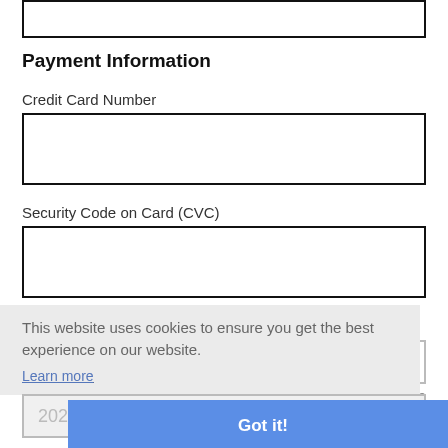Payment Information
Credit Card Number
Security Code on Card (CVC)
Card Expiration
This website uses cookies to ensure you get the best experience on our website.
Learn more
Got it!
Subtotal: $0.00
Total: $0.00